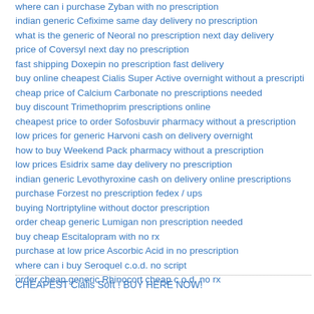where can i purchase Zyban with no prescription
indian generic Cefixime same day delivery no prescription
what is the generic of Neoral no prescription next day delivery
price of Coversyl next day no prescription
fast shipping Doxepin no prescription fast delivery
buy online cheapest Cialis Super Active overnight without a prescription
cheap price of Calcium Carbonate no prescriptions needed
buy discount Trimethoprim prescriptions online
cheapest price to order Sofosbuvir pharmacy without a prescription
low prices for generic Harvoni cash on delivery overnight
how to buy Weekend Pack pharmacy without a prescription
low prices Esidrix same day delivery no prescription
indian generic Levothyroxine cash on delivery online prescriptions
purchase Forzest no prescription fedex / ups
buying Nortriptyline without doctor prescription
order cheap generic Lumigan non prescription needed
buy cheap Escitalopram with no rx
purchase at low price Ascorbic Acid in no prescription
where can i buy Seroquel c.o.d. no script
order cheap generic Rhinocort cheap c.o.d. no rx
CHEAPEST Cialis Soft ! BUY HERE NOW!